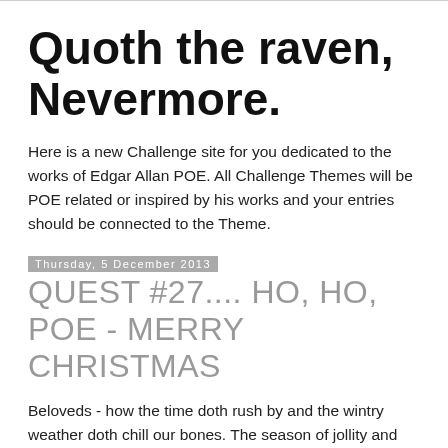Quoth the raven, Nevermore.
Here is a new Challenge site for you dedicated to the works of Edgar Allan POE. All Challenge Themes will be POE related or inspired by his works and your entries should be connected to the Theme.
Thursday, 5 December 2013
QUEST #27.... HO, HO, POE - MERRY CHRISTMAS
Beloveds - how the time doth rush by and the wintry weather doth chill our bones. The season of jollity and overindulgence doth creep ever nearer.
Before I set thee a task for this festive season, let us send salutations to the Victor of Quest #26......